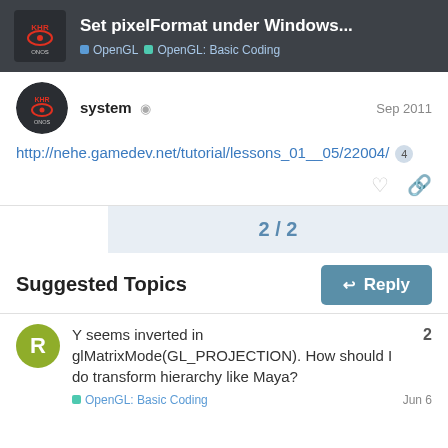Set pixelFormat under Windows... | OpenGL | OpenGL: Basic Coding
system  Sep 2011
http://nehe.gamedev.net/tutorial/lessons_01__05/22004/ 4
2 / 2
Suggested Topics
Y seems inverted in glMatrixMode(GL_PROJECTION). How should I do transform hierarchy like Maya?
OpenGL: Basic Coding  Jun 6